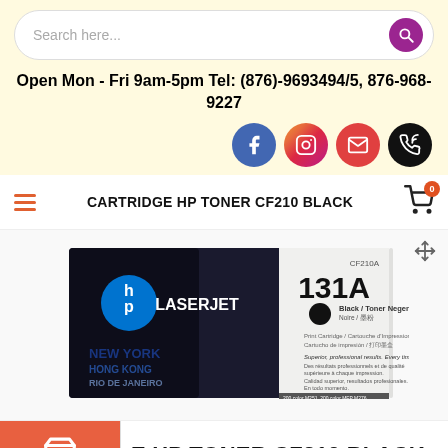[Figure (screenshot): Search bar with purple search button on yellow background]
Open Mon - Fri 9am-5pm Tel: (876)-9693494/5, 876-968-9227
[Figure (infographic): Social media icons: Facebook, Instagram, Email, Phone]
CARTRIDGE HP TONER CF210 BLACK
[Figure (photo): HP LaserJet 131A CF210A Black Toner Cartridge product box]
E HP TONER CF210 BLACK